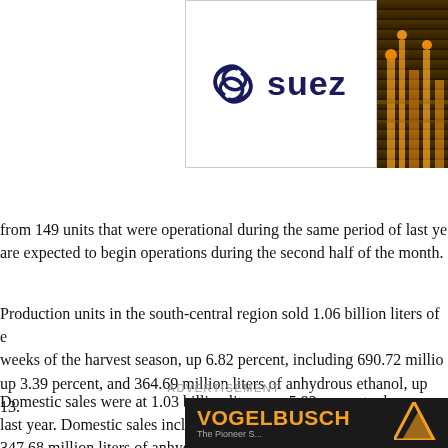[Figure (logo): SUEZ logo with spiral symbol on white background with border, and industrial plant photo partially visible on right]
from 149 units that were operational during the same period of last year, are expected to begin operations during the second half of the month.
Production units in the south-central region sold 1.06 billion liters of ethanol in the first two weeks of the harvest season, up 6.82 percent, including 690.72 million liters of hydrous ethanol, up 3.39 percent, and 364.69 million liters of anhydrous ethanol, up 13...
Domestic sales were at 1.03 billion liters, up 5.92 percent when compared to the same period last year. Domestic sales included 680.37 million liters of hydrous ethanol... 347.68 million liters of anhydrous ethanol, up 11.78 percent.
Export sales reached 27.36 million liters during the first half of April, including... of anhydrous ethanol and 10.35 million liters of hydrous ethanol.
ADVERTISEMENT
[Figure (logo): VOGELBUSCH advertisement banner on dark background with orange text and geometric logo icon]